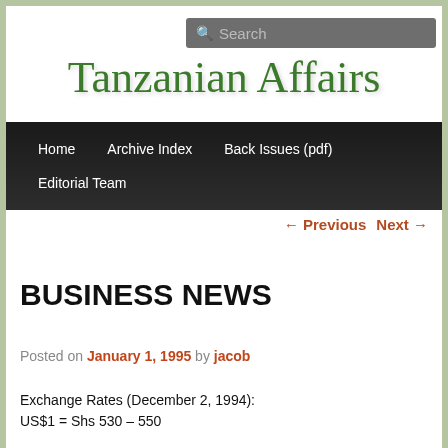Search
Tanzanian Affairs
Home   Archive Index   Back Issues (pdf)   Editorial Team
← Previous   Next →
BUSINESS NEWS
Posted on January 1, 1995 by jacob
Exchange Rates (December 2, 1994):
US$1 = Shs 530 – 550